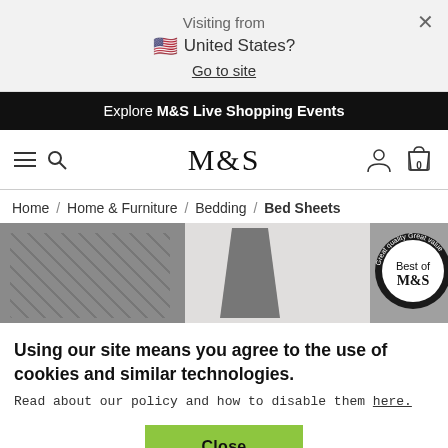Visiting from
🇺🇸 United States?
Go to site
Explore M&S Live Shopping Events
[Figure (screenshot): M&S website navigation bar with hamburger menu, search icon, M&S logo, user icon, and bag icon showing 0 items]
Home / Home & Furniture / Bedding / Bed Sheets
[Figure (photo): M&S bedroom scene with tufted headboard, lamp, and Best of M&S badge]
Using our site means you agree to the use of cookies and similar technologies.
Read about our policy and how to disable them here.
Close